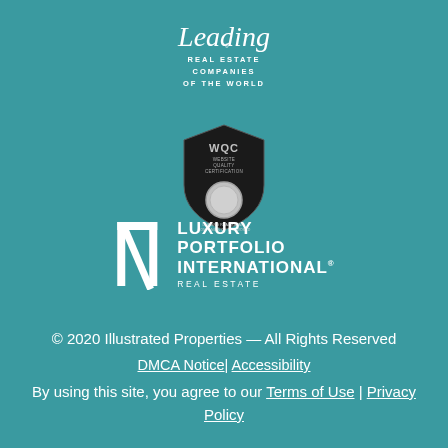[Figure (logo): Leading Real Estate Companies of the World logo in script and uppercase text on teal background]
[Figure (logo): WQC (Website Quality Certification) badge/shield emblem with silver medal, awarded by Leading Real Estate Companies of the World]
[Figure (logo): Luxury Portfolio International Real Estate logo with LP monogram letters and text]
© 2020 Illustrated Properties — All Rights Reserved
DMCA Notice| Accessibility
By using this site, you agree to our Terms of Use | Privacy Policy